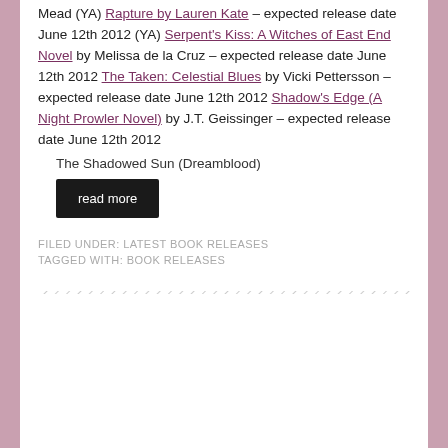Mead (YA) Rapture by Lauren Kate – expected release date June 12th 2012 (YA) Serpent's Kiss: A Witches of East End Novel by Melissa de la Cruz – expected release date June 12th 2012 The Taken: Celestial Blues by Vicki Pettersson – expected release date June 12th 2012 Shadow's Edge (A Night Prowler Novel) by J.T. Geissinger – expected release date June 12th 2012
The Shadowed Sun (Dreamblood)
read more
FILED UNDER: LATEST BOOK RELEASES
TAGGED WITH: BOOK RELEASES